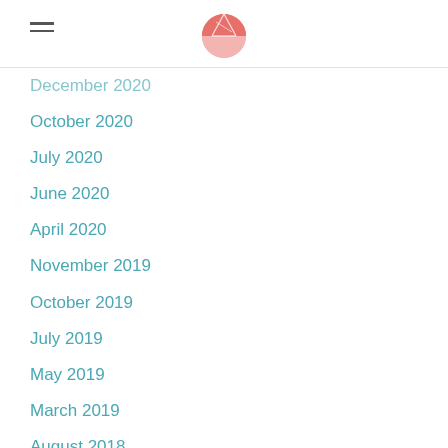Navigation menu with logo
December 2020
October 2020
July 2020
June 2020
April 2020
November 2019
October 2019
July 2019
May 2019
March 2019
August 2018
April 2018
March 2018
February 2018
November 2017
October 2017
September 2017
July 2017